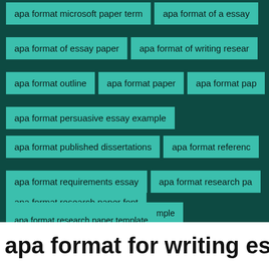[Figure (infographic): Tag cloud of APA format related search terms on dark teal background. Tags include: apa format microsoft paper term, apa format of a essay, apa format of essay paper, apa format of writing research, apa format outline, apa format paper, apa format pap, apa format persuasive essay example, apa format published dissertations, apa format reference, apa format requirements essay, apa format research pa, apa format research paper font, apa format research paper outline example, apa format research paper template]
apa format for writing essay